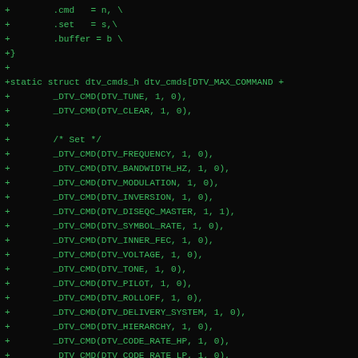+        .cmd   = n, \
+        .set   = s,\
+        .buffer = b \
+}
+
+static struct dtv_cmds_h dtv_cmds[DTV_MAX_COMMAND +
+        _DTV_CMD(DTV_TUNE, 1, 0),
+        _DTV_CMD(DTV_CLEAR, 1, 0),
+
+        /* Set */
+        _DTV_CMD(DTV_FREQUENCY, 1, 0),
+        _DTV_CMD(DTV_BANDWIDTH_HZ, 1, 0),
+        _DTV_CMD(DTV_MODULATION, 1, 0),
+        _DTV_CMD(DTV_INVERSION, 1, 0),
+        _DTV_CMD(DTV_DISEQC_MASTER, 1, 1),
+        _DTV_CMD(DTV_SYMBOL_RATE, 1, 0),
+        _DTV_CMD(DTV_INNER_FEC, 1, 0),
+        _DTV_CMD(DTV_VOLTAGE, 1, 0),
+        _DTV_CMD(DTV_TONE, 1, 0),
+        _DTV_CMD(DTV_PILOT, 1, 0),
+        _DTV_CMD(DTV_ROLLOFF, 1, 0),
+        _DTV_CMD(DTV_DELIVERY_SYSTEM, 1, 0),
+        _DTV_CMD(DTV_HIERARCHY, 1, 0),
+        _DTV_CMD(DTV_CODE_RATE_HP, 1, 0),
+        _DTV_CMD(DTV_CODE_RATE_LP, 1, 0),
+        _DTV_CMD(DTV_GUARD_INTERVAL, 1, 0),
+        _DTV_CMD(DTV_TRANSMISSION_MODE, 1, 0),
+        _DTV_CMD(DTV_INTERLEAVING, 1, 0),
+
+        _DTV_CMD(DTV_ISDBT_PARTIAL_RECEPTION, 1, 0),
+        _DTV_CMD(DTV_ISDBT_SOUND_BROADCASTING, 1,